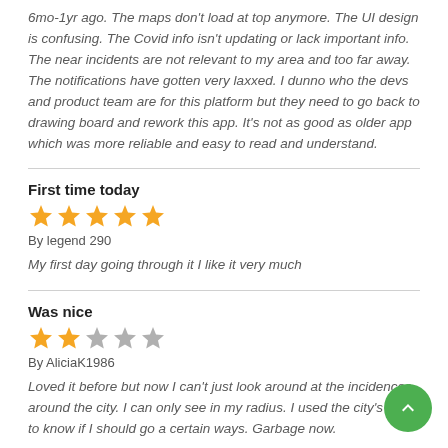6mo-1yr ago. The maps don't load at top anymore. The UI design is confusing. The Covid info isn't updating or lack important info. The near incidents are not relevant to my area and too far away. The notifications have gotten very laxxed. I dunno who the devs and product team are for this platform but they need to go back to drawing board and rework this app. It's not as good as older app which was more reliable and easy to read and understand.
First time today
[Figure (infographic): 5 gold stars rating]
By legend 290
My first day going through it I like it very much
Was nice
[Figure (infographic): 2 gold stars and 3 grey stars rating]
By AliciaK1986
Loved it before but now I can't just look around at the incidences around the city. I can only see in my radius. I used the city's app to know if I should go a certain ways. Garbage now.